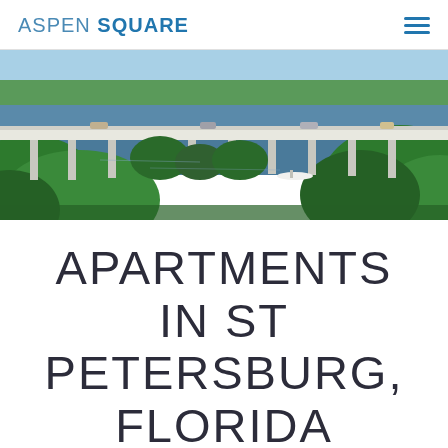ASPEN SQUARE
[Figure (photo): Aerial view of a highway bridge over water surrounded by lush green trees and mangroves in St. Petersburg, Florida. A boat is visible under the bridge on calm water.]
APARTMENTS IN ST PETERSBURG, FLORIDA
Choose another City